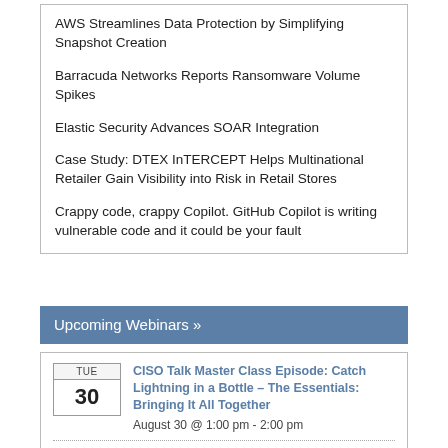AWS Streamlines Data Protection by Simplifying Snapshot Creation
Barracuda Networks Reports Ransomware Volume Spikes
Elastic Security Advances SOAR Integration
Case Study: DTEX InTERCEPT Helps Multinational Retailer Gain Visibility into Risk in Retail Stores
Crappy code, crappy Copilot. GitHub Copilot is writing vulnerable code and it could be your fault
Upcoming Webinars »
CISO Talk Master Class Episode: Catch Lightning in a Bottle – The Essentials: Bringing It All Together
August 30 @ 1:00 pm - 2:00 pm
Finding Suspicious Events with AWS CloudTrail: